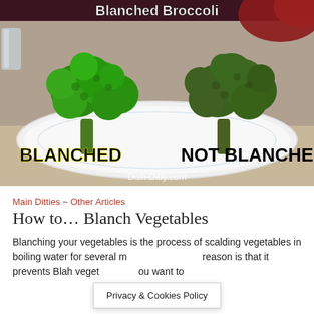[Figure (photo): Two broccoli florets on a white plate - one bright green (blanched) on the left, one darker green (not blanched) on the right. Labels read BLANCHED and NOT BLANCHED. Watermark: Dish-Ditty.com. Title at top: Blanched Broccoli.]
Main Ditties ~ Other Articles
How to… Blanch Vegetables
Blanching your vegetables is the process of scalding vegetables in boiling water for several m... reason is that it prevents Blah veget... ou want to
Privacy & Cookies Policy